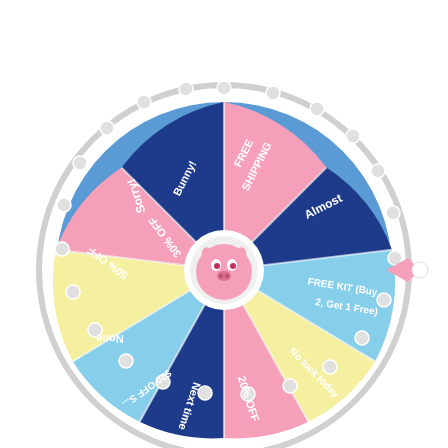[Figure (other): A colorful prize spin wheel (fortune wheel) with 10 segments in pink, blue, yellow, and light blue colors. Segments are labeled: FREE SHIPPING, Almost, FREE KIT (Buy 2, Get 1 Free), No luck today, 20% OFF, Next time, $20 OFF S..., None, 50% OFF, Sorry!, 30% OFF, Bunny!. The wheel has a white border with small circular pegs around the rim, a pink arrow pointer on the right side, and a pink pig/hippo character in the center hub.]